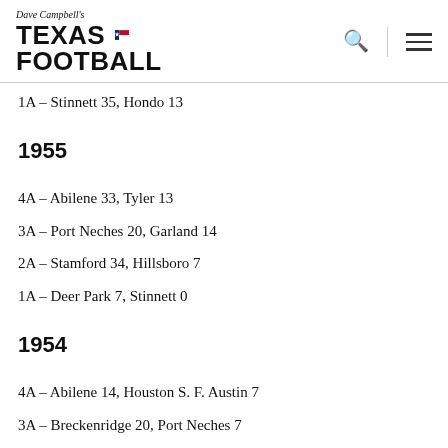Dave Campbell's Texas Football
1A - Stinnett 35, Hondo 13
1955
4A - Abilene 33, Tyler 13
3A - Port Neches 20, Garland 14
2A - Stamford 34, Hillsboro 7
1A - Deer Park 7, Stinnett 0
1954
4A - Abilene 14, Houston S. F. Austin 7
3A - Breckenridge 20, Port Neches 7
2A - Phillips 21, Killeen 13